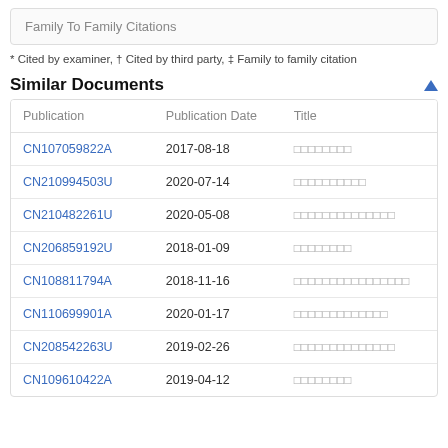Family To Family Citations
* Cited by examiner, † Cited by third party, ‡ Family to family citation
Similar Documents
| Publication | Publication Date | Title |
| --- | --- | --- |
| CN107059822A | 2017-08-18 | □□□□□□□□ |
| CN210994503U | 2020-07-14 | □□□□□□□□□□ |
| CN210482261U | 2020-05-08 | □□□□□□□□□□□□□□ |
| CN206859192U | 2018-01-09 | □□□□□□□□ |
| CN108811794A | 2018-11-16 | □□□□□□□□□□□□□□□□ |
| CN110699901A | 2020-01-17 | □□□□□□□□□□□□□ |
| CN208542263U | 2019-02-26 | □□□□□□□□□□□□□□ |
| CN109610422A | 2019-04-12 | □□□□□□□□ |